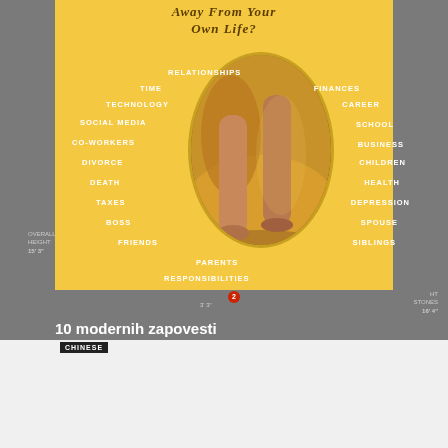[Figure (illustration): Book cover image showing a yellow background card with words radiating around a central oval image of walking feet/legs, on a background of an engineering drawing. Words include: RELATIONSHIPS, TIME, FINANCES, TECHNOLOGY, CAREER, SOCIAL MEDIA, SCHOOL, CO-WORKERS, BUSINESS, DIVORCE, CHILDREN, DEATH, HEALTH, TAXES, DEPRESSION, BOSS, SPOUSE, FRIENDS, SIBLINGS, PARENTS, RESPONSIBILITIES]
Away From Your Own Life?
10 modernih zapovesti
CHINESE